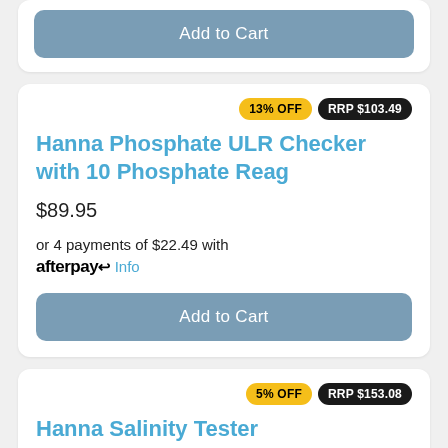Add to Cart
13% OFF  RRP $103.49
Hanna Phosphate ULR Checker with 10 Phosphate Reag
$89.95
or 4 payments of $22.49 with afterpay Info
Add to Cart
5% OFF  RRP $153.08
Hanna Salinity Tester
$145.00
or 4 payments of $36.25 with